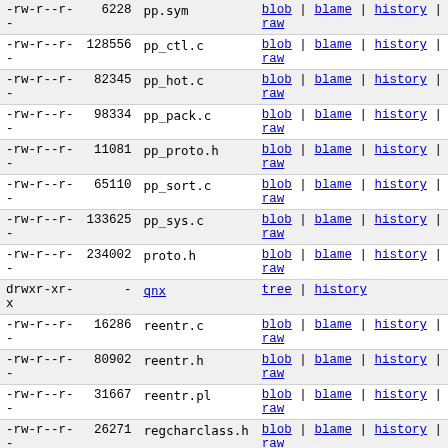| permissions | size | name | actions |
| --- | --- | --- | --- |
| -rw-r--r- | 6228 | pp.sym | blob | blame | history | raw |
| -rw-r--r- | 128556 | pp_ctl.c | blob | blame | history | raw |
| -rw-r--r- | 82345 | pp_hot.c | blob | blame | history | raw |
| -rw-r--r- | 98334 | pp_pack.c | blob | blame | history | raw |
| -rw-r--r- | 11081 | pp_proto.h | blob | blame | history | raw |
| -rw-r--r- | 65110 | pp_sort.c | blob | blame | history | raw |
| -rw-r--r- | 133625 | pp_sys.c | blob | blame | history | raw |
| -rw-r--r- | 234002 | proto.h | blob | blame | history | raw |
| drwxr-xr-x | - | qnx | tree | history |
| -rw-r--r- | 16286 | reentr.c | blob | blame | history | raw |
| -rw-r--r- | 80902 | reentr.h | blob | blame | history | raw |
| -rw-r--r- | 31667 | reentr.pl | blob | blame | history | raw |
| -rw-r--r- | 26271 | regcharclass.h | blob | blame | history | raw |
| -rw-r--r- | 342254 | regcomp.c | blob | blame | history | raw |